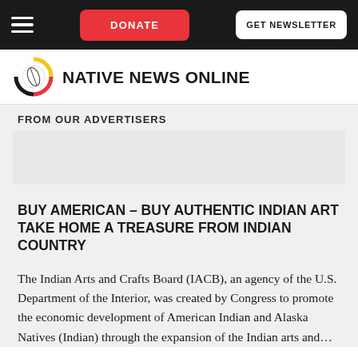DONATE | GET NEWSLETTER
[Figure (logo): Native News Online logo with circular feather emblem and bold uppercase text NATIVE NEWS ONLINE]
FROM OUR ADVERTISERS
BUY AMERICAN – BUY AUTHENTIC INDIAN ART TAKE HOME A TREASURE FROM INDIAN COUNTRY
The Indian Arts and Crafts Board (IACB), an agency of the U.S. Department of the Interior, was created by Congress to promote the economic development of American Indian and Alaska Natives (Indian) through the expansion of the Indian arts and...